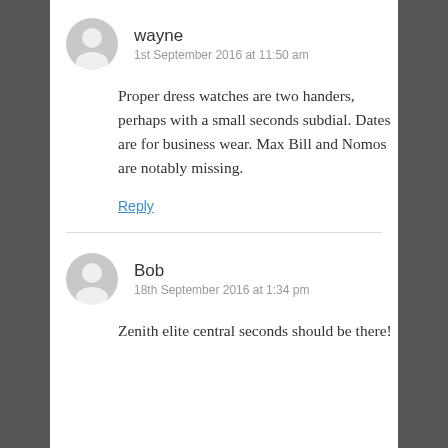wayne
1st September 2016 at 11:50 am
Proper dress watches are two handers, perhaps with a small seconds subdial. Dates are for business wear. Max Bill and Nomos are notably missing.
Reply
Bob
18th September 2016 at 1:34 pm
Zenith elite central seconds should be there!